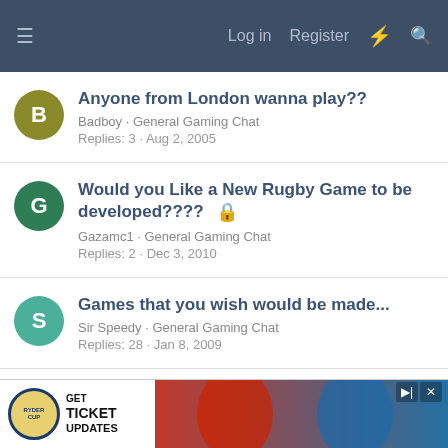≡  Log in  Register  ⚡  🔍
Anyone from London wanna play??
Badboy · General Gaming Chat
Replies: 3 · Aug 2, 2005
Would you Like a New Rugby Game to be developed????
Gazamc1 · General Gaming Chat
Replies: 2 · Dec 3, 2010
Games that you wish would be made...
Sir Speedy · General Gaming Chat
Replies: 28 · Jan 8, 2009
It Should Be A Game
Mr. Laxative · General Gaming Chat
[Figure (screenshot): Advertisement banner for Ryder Cup ticket updates, showing the Ryder Cup logo on the left and golfers on the right with a red/blue background.]